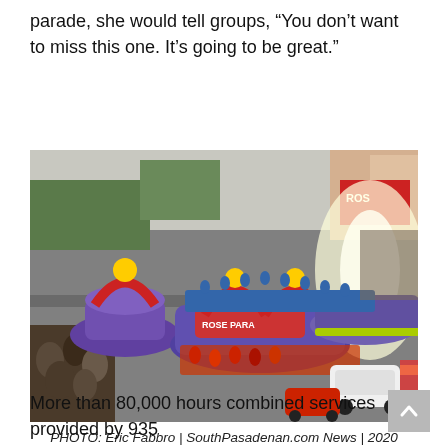parade, she would tell groups, “You don’t want to miss this one. It’s going to be great.”
[Figure (photo): Aerial/elevated view of the 2020 Rose Parade in Pasadena showing colorful floats, performers in blue and red costumes, large crowd lining the street, and vehicles.]
PHOTO: Eric Fabbro | SouthPasadenan.com News | 2020 ROSE PARADE in Pasadena
More than 80,000 hours combined services provided by 935